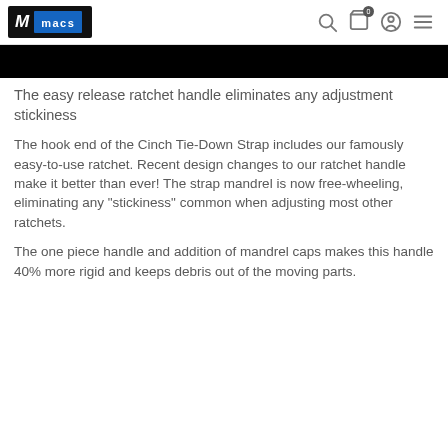macs [logo with search, cart, account, menu icons]
[Figure (photo): Black rectangular banner image at the top of the product page]
The easy release ratchet handle eliminates any adjustment stickiness
The hook end of the Cinch Tie-Down Strap includes our famously easy-to-use ratchet. Recent design changes to our ratchet handle make it better than ever! The strap mandrel is now free-wheeling, eliminating any "stickiness" common when adjusting most other ratchets.
The one piece handle and addition of mandrel caps makes this handle 40% more rigid and keeps debris out of the moving parts.